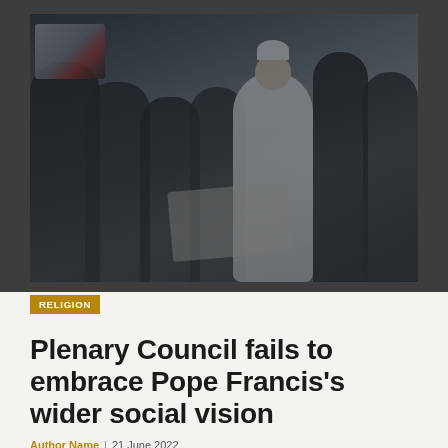[Figure (photo): Pope Francis in white robes greeting or shaking hands with a group of people, including refugees or petitioners. A flag with a red star is visible on the left. Several dark-suited individuals are present. Appears to be outdoors.]
RELIGION
Plenary Council fails to embrace Pope Francis's wider social vision
Author Name | 21 June 2022